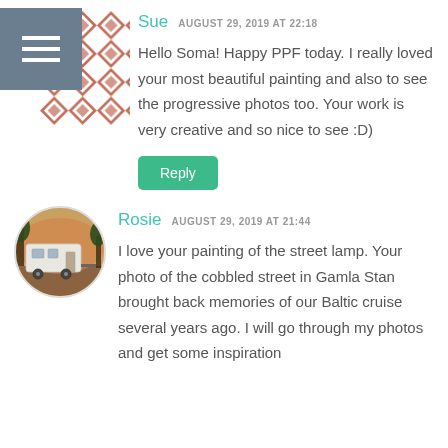[Figure (illustration): Sue's avatar: a grey menu/hamburger icon box overlapping a diamond quilt pattern in brown/rust colors]
Sue AUGUST 29, 2019 AT 22:18
Hello Soma! Happy PPF today. I really loved your most beautiful painting and also to see the progressive photos too. Your work is very creative and so nice to see :D)
Reply
[Figure (photo): Rosie's circular avatar photo showing a white RV/trailer parked at dusk with trees and orange sky in background]
Rosie AUGUST 29, 2019 AT 21:44
I love your painting of the street lamp. Your photo of the cobbled street in Gamla Stan brought back memories of our Baltic cruise several years ago. I will go through my photos and get some inspiration